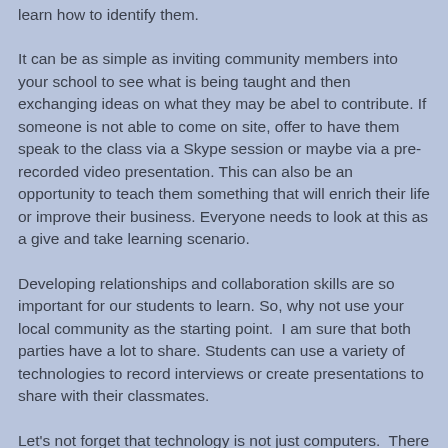learn how to identify them.
It can be as simple as inviting community members into your school to see what is being taught and then exchanging ideas on what they may be abel to contribute. If someone is not able to come on site, offer to have them speak to the class via a Skype session or maybe via a pre-recorded video presentation. This can also be an opportunity to teach them something that will enrich their life or improve their business. Everyone needs to look at this as a give and take learning scenario.
Developing relationships and collaboration skills are so important for our students to learn. So, why not use your local community as the starting point.  I am sure that both parties have a lot to share. Students can use a variety of technologies to record interviews or create presentations to share with their classmates.
Let's not forget that technology is not just computers.  There are local experts out there that can come into your classroom and teach students about a variety of STEM